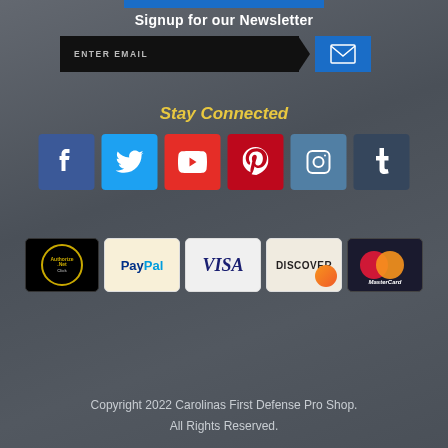[Figure (other): Blue decorative bar at top]
Signup for our Newsletter
[Figure (screenshot): Email input field with arrow and blue submit button with envelope icon]
Stay Connected
[Figure (infographic): Social media icons row: Facebook (blue), Twitter (light blue), YouTube (red), Pinterest (dark red), Instagram (blue-grey), Tumblr (dark grey)]
[Figure (infographic): Payment method logos: Authorize.Net, PayPal, Visa, Discover, MasterCard]
Copyright 2022 Carolinas First Defense Pro Shop. All Rights Reserved.